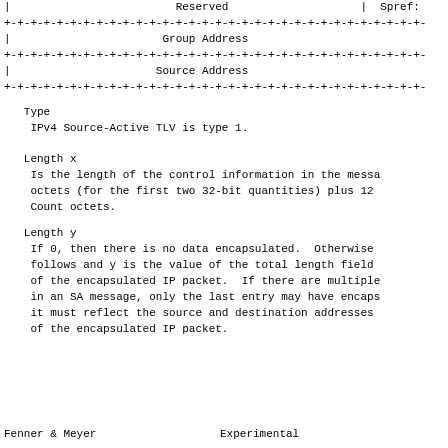|                         Reserved                    |  Spref:
+-+-+-+-+-+-+-+-+-+-+-+-+-+-+-+-+-+-+-+-+-+-+-+-+-+-+-+-+-+-+-+-
|                       Group Address
+-+-+-+-+-+-+-+-+-+-+-+-+-+-+-+-+-+-+-+-+-+-+-+-+-+-+-+-+-+-+-+-
|                      Source Address
+-+-+-+-+-+-+-+-+-+-+-+-+-+-+-+-+-+-+-+-+-+-+-+-+-+-+-+-+-+-+-+-
Type
    IPv4 Source-Active TLV is type 1.
Length x
    Is the length of the control information in the messa
    octets (for the first two 32-bit quantities) plus 12
    Count octets.
Length y
    If 0, then there is no data encapsulated.  Otherwise
    follows and y is the value of the total length field
    of the encapsulated IP packet.  If there are multiple
    in an SA message, only the last entry may have encaps
    it must reflect the source and destination addresses
    of the encapsulated IP packet.
Fenner & Meyer                    Experimental